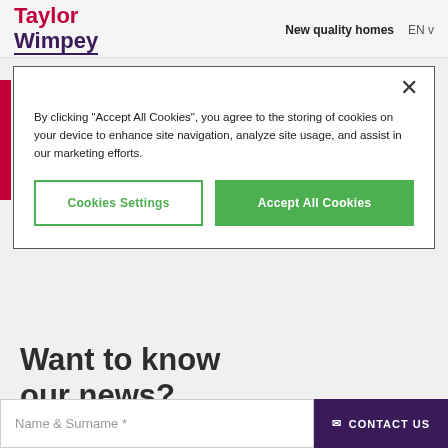Taylor Wimpey | New quality homes | EN v
By clicking "Accept All Cookies", you agree to the storing of cookies on your device to enhance site navigation, analyze site usage, and assist in our marketing efforts.
Cookies Settings
Accept All Cookies
Want to know our news?
Sign Up to our newsletter and you'll to date with all our news
Name & Surname *
CONTACT US